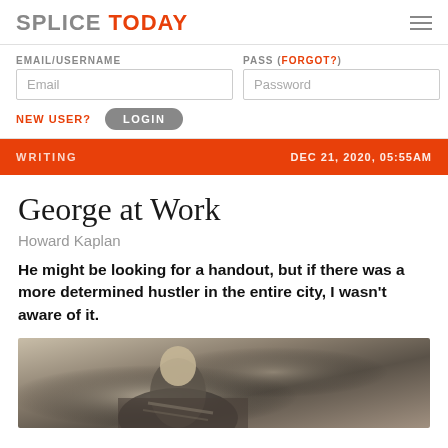SPLICE TODAY
EMAIL/USERNAME | Email input field | PASS (FORGOT?) | Password input field | NEW USER? | LOGIN
WRITING | DEC 21, 2020, 05:55AM
George at Work
Howard Kaplan
He might be looking for a handout, but if there was a more determined hustler in the entire city, I wasn't aware of it.
[Figure (photo): A person in a jacket, close-up photograph used as article illustration]